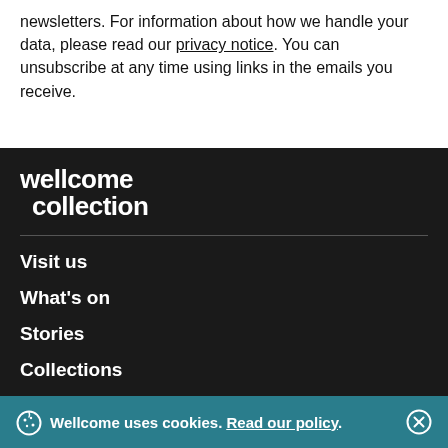newsletters. For information about how we handle your data, please read our privacy notice. You can unsubscribe at any time using links in the emails you receive.
[Figure (logo): Wellcome Collection logo in white text on dark background]
Visit us
What's on
Stories
Collections
Get involved
About us
Wellcome uses cookies. Read our policy.